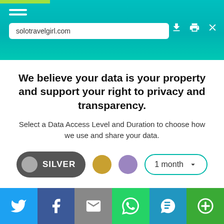solotravelgirl.com
We believe your data is your property and support your right to privacy and transparency.
Select a Data Access Level and Duration to choose how we use and share your data.
[Figure (other): Privacy level selector with SILVER toggle button, gold circle, purple circle, and '1 month' dropdown]
Highest level of privacy. Data accessed for necessary basic operations only. Data shared with 3rd parties to ensure the site is secure and works on your device
Save my preferences
Share buttons: Twitter, Facebook, Email, WhatsApp, SMS, ShareThis